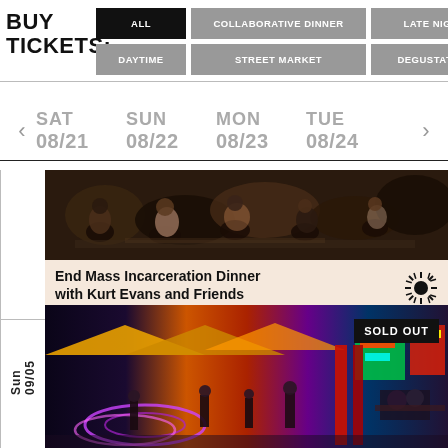BUY TICKETS:
ALL
COLLABORATIVE DINNER
LATE NIGHT POPUP
DAYTIME
STREET MARKET
DEGUSTATION POPUP
SAT 08/21   SUN 08/22   MON 08/23   TUE 08/24
[Figure (photo): People dining at a collaborative dinner event, viewed from above]
End Mass Incarceration Dinner with Kurt Evans and Friends
[Figure (photo): Outdoor night market with neon lights and people walking, with SOLD OUT banner]